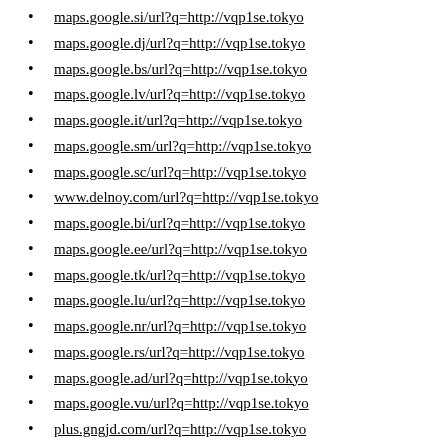maps.google.si/url?q=http://vqp1se.tokyo
maps.google.dj/url?q=http://vqp1se.tokyo
maps.google.bs/url?q=http://vqp1se.tokyo
maps.google.lv/url?q=http://vqp1se.tokyo
maps.google.it/url?q=http://vqp1se.tokyo
maps.google.sm/url?q=http://vqp1se.tokyo
maps.google.sc/url?q=http://vqp1se.tokyo
www.delnoy.com/url?q=http://vqp1se.tokyo
maps.google.bi/url?q=http://vqp1se.tokyo
maps.google.ee/url?q=http://vqp1se.tokyo
maps.google.tk/url?q=http://vqp1se.tokyo
maps.google.lu/url?q=http://vqp1se.tokyo
maps.google.nr/url?q=http://vqp1se.tokyo
maps.google.rs/url?q=http://vqp1se.tokyo
maps.google.ad/url?q=http://vqp1se.tokyo
maps.google.vu/url?q=http://vqp1se.tokyo
plus.gngjd.com/url?q=http://vqp1se.tokyo
maps.google.ge/url?q=http://vqp1se.tokyo
maps.google.de/url?q=http://vqp1se.tokyo